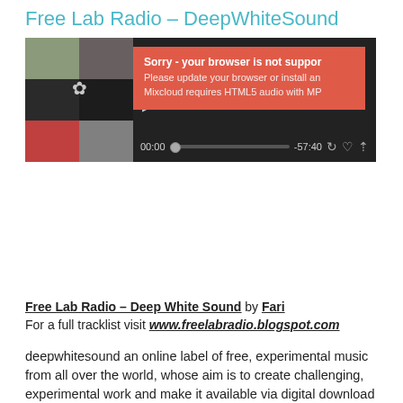Free Lab Radio – DeepWhiteSound
[Figure (screenshot): Mixcloud audio player embedded on webpage showing album thumbnails on the left, play button, and an error overlay in red/orange reading 'Sorry - your browser is not supported. Please update your browser or install an... Mixcloud requires HTML5 audio with MP...' Controls bar at bottom shows time 00:00 and -57:40.]
Free Lab Radio – Deep White Sound by Fari
For a full tracklist visit www.freelabradio.blogspot.com
deepwhitesound an online label of free, experimental music from all over the world, whose aim is to create challenging, experimental work and make it available via digital download for free.
These tracks were sent in by founder DB Amorin to give us an overview of the different works and disciplines being